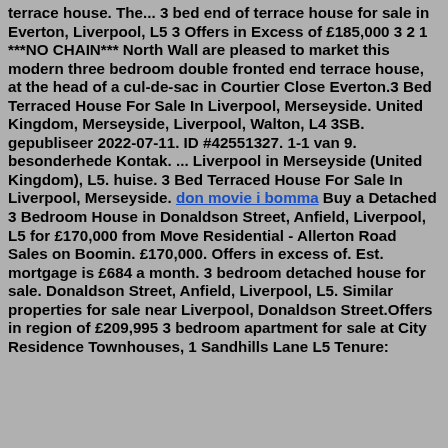terrace house. The... 3 bed end of terrace house for sale in Everton, Liverpool, L5 3 Offers in Excess of £185,000 3 2 1 ***NO CHAIN*** North Wall are pleased to market this modern three bedroom double fronted end terrace house, at the head of a cul-de-sac in Courtier Close Everton.3 Bed Terraced House For Sale In Liverpool, Merseyside. United Kingdom, Merseyside, Liverpool, Walton, L4 3SB. gepubliseer 2022-07-11. ID #42551327. 1-1 van 9. besonderhede Kontak. ... Liverpool in Merseyside (United Kingdom), L5. huise. 3 Bed Terraced House For Sale In Liverpool, Merseyside. don movie i bomma Buy a Detached 3 Bedroom House in Donaldson Street, Anfield, Liverpool, L5 for £170,000 from Move Residential - Allerton Road Sales on Boomin. £170,000. Offers in excess of. Est. mortgage is £684 a month. 3 bedroom detached house for sale. Donaldson Street, Anfield, Liverpool, L5. Similar properties for sale near Liverpool, Donaldson Street.Offers in region of £209,995 3 bedroom apartment for sale at City Residence Townhouses, 1 Sandhills Lane L5 Tenure: